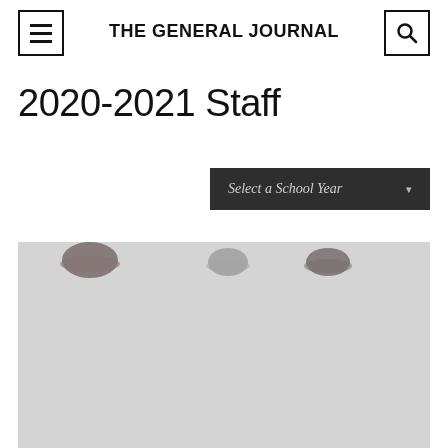THE GENERAL JOURNAL
2020-2021 Staff
Select a School Year
[Figure (photo): Partially visible group photo of staff members, blurred/cropped, showing tops of heads against a light gray background]